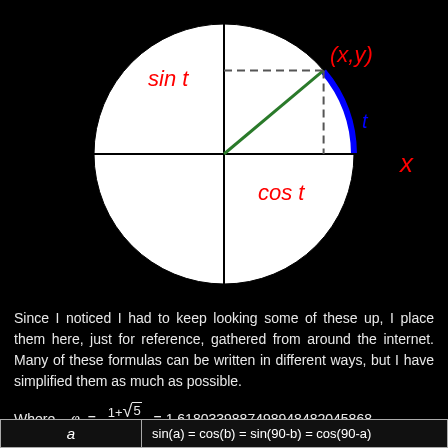[Figure (illustration): Unit circle diagram on black background showing a point (x,y) on the circle in the first quadrant with a green radius line from origin, dashed vertical line showing sin t (red label), dashed horizontal line showing cos t (red label), arc labeled t (blue), and x-axis label x (red). The circle has black axis lines through center.]
Since I noticed I had to keep looking some of these up, I place them here, just for reference, gathered from around the internet. Many of these formulas can be written in different ways, but I have simplified them as much as possible.
also known as the golden ratio (phi).
| a | sin(a) = cos(b) = sin(90-b) = cos(90-a) |
| --- | --- |